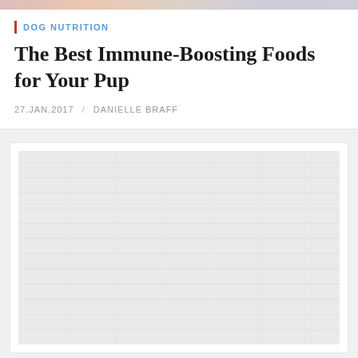DOG NUTRITION
The Best Immune-Boosting Foods for Your Pup
27.JAN.2017 / DANIELLE BRAFF
[Figure (photo): A large placeholder/loading image area with light gray background, representing an article image that has not fully loaded]